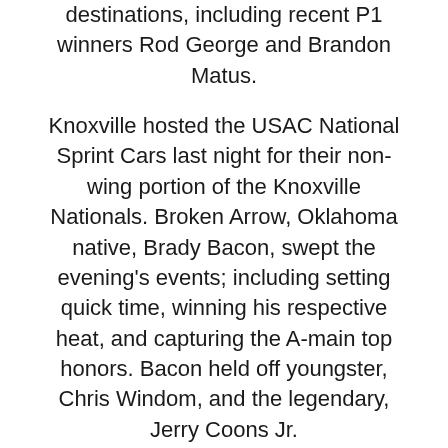destinations, including recent P1 winners Rod George and Brandon Matus.
Knoxville hosted the USAC National Sprint Cars last night for their non-wing portion of the Knoxville Nationals. Broken Arrow, Oklahoma native, Brady Bacon, swept the evening's events; including setting quick time, winning his respective heat, and capturing the A-main top honors. Bacon held off youngster, Chris Windom, and the legendary, Jerry Coons Jr.
The Southern Iowa Speedway in Oskaloosa, Iowa, will be busy tonight and tomorrow; as the All-Star Circuit of Champions and USAC National Sprint Cars will be hosting events at the famous 'pre-knoxville' destination. Tonight, the Front Row Challenge will highlight the